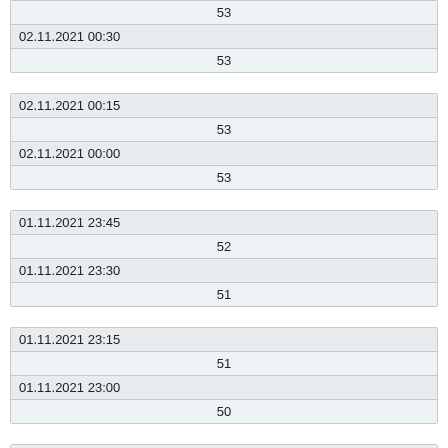| 53 |
| 02.11.2021 00:30 |
| 53 |
| 02.11.2021 00:15 |
| 53 |
| 02.11.2021 00:00 |
| 53 |
| 01.11.2021 23:45 |
| 52 |
| 01.11.2021 23:30 |
| 51 |
| 01.11.2021 23:15 |
| 51 |
| 01.11.2021 23:00 |
| 50 |
| 01.11.2021 22:45 |